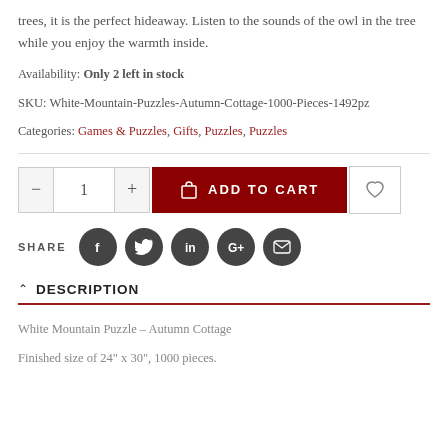trees, it is the perfect hideaway. Listen to the sounds of the owl in the tree while you enjoy the warmth inside.
Availability: Only 2 left in stock
SKU: White-Mountain-Puzzles-Autumn-Cottage-1000-Pieces-1492pz
Categories: Games & Puzzles, Gifts, Puzzles, Puzzles
[Figure (infographic): Add to cart section with quantity selector (minus, 1, plus), dark red ADD TO CART button with shopping bag icon, and heart/wishlist button]
[Figure (infographic): SHARE label with five dark circular social media icons: Facebook, Twitter, LinkedIn, Google+, Email]
DESCRIPTION
White Mountain Puzzle – Autumn Cottage
Finished size of 24" x 30", 1000 pieces.